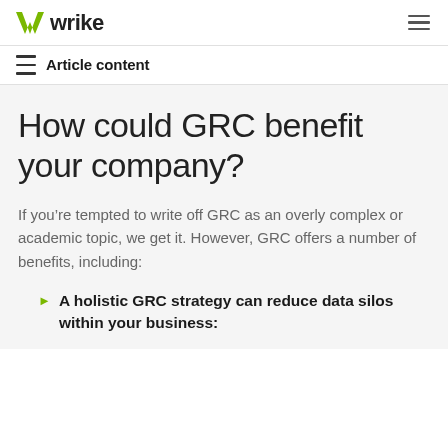wrike
Article content
How could GRC benefit your company?
If you’re tempted to write off GRC as an overly complex or academic topic, we get it. However, GRC offers a number of benefits, including:
A holistic GRC strategy can reduce data silos within your business: